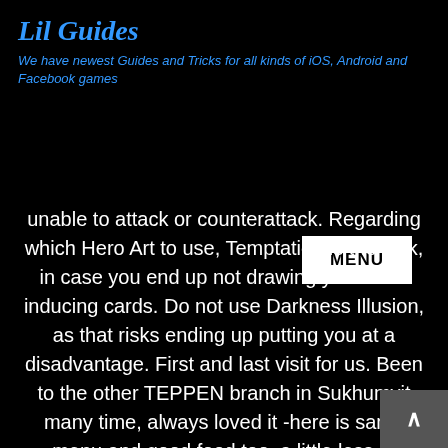Lil Guides
We have newest Guides and Tricks for all kinds of iOS, Android and Facebook games
MENU
unable to attack or counterattack. Regarding which Hero Art to use, Temptation is the pick, in case you end up not drawing your Halt-inducing cards. Do not use Darkness Illusion, as that risks ending up putting you at a disadvantage. First and last visit for us. Been to the other TEPPEN branch in Sukhumvit many time, always loved it -here is same menu and good food too, a little less at atmosphere. One thing that was a real issue was that the price on the bill was different to the menu....More Great variety with some dishes hardly found in other Japanese restaurants in Bangkok in the middle of noisy traditional